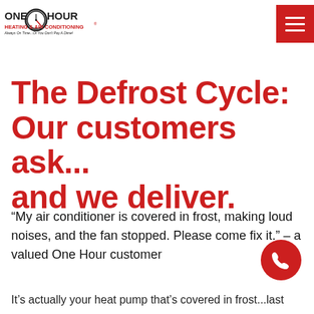One Hour Heating & Air Conditioning — Always On Time...Or You Don't Pay A Dime!
The Defrost Cycle: Our customers ask... and we deliver.
“My air conditioner is covered in frost, making loud noises, and the fan stopped. Please come fix it.” – a valued One Hour customer
It’s actually your heat pump that’s covered in frost...last